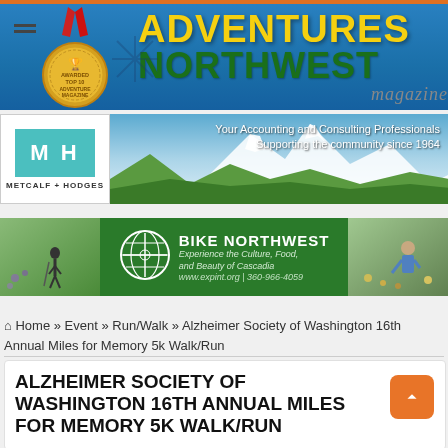[Figure (logo): Adventures Northwest Magazine header banner with blue sky background, medal icon, and yellow/green text]
[Figure (photo): Metcalf + Hodges accounting firm advertisement with MH logo and mountain background photo]
[Figure (photo): Bike Northwest advertisement with green banner, globe logo, hikers photos, Experience the Culture, Food, and Beauty of Cascadia, www.expint.org | 360-966-4059]
Home » Event » Run/Walk » Alzheimer Society of Washington 16th Annual Miles for Memory 5k Walk/Run
ALZHEIMER SOCIETY OF WASHINGTON 16TH ANNUAL MILES FOR MEMORY 5K WALK/RUN